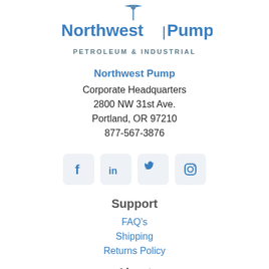[Figure (logo): Northwest Pump logo with sun/compass star icon above text 'Northwest Pump' in bold blue and 'PETROLEUM & INDUSTRIAL' tagline]
Northwest Pump
Corporate Headquarters
2800 NW 31st Ave.
Portland, OR 97210
877-567-3876
[Figure (other): Social media icons: Facebook, LinkedIn, Twitter, Instagram in rounded square buttons]
Support
FAQ's
Shipping
Returns Policy
About